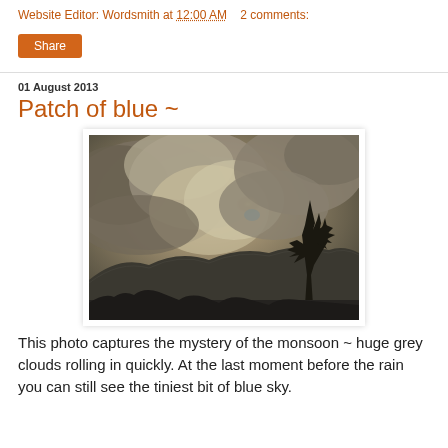Website Editor: Wordsmith at 12:00 AM    2 comments:
Share
01 August 2013
Patch of blue ~
[Figure (photo): A dramatic monsoon sky photograph showing large dark grey clouds rolling in, with mountain silhouettes and a tree silhouette on the right side. A tiny patch of blue sky is visible near the center. The image has a sepia/dark tone.]
This photo captures the mystery of the monsoon ~ huge grey clouds rolling in quickly. At the last moment before the rain you can still see the tiniest bit of blue sky.